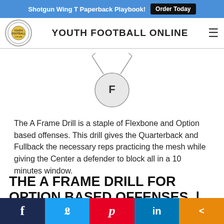Shotgun Wing T Paperback Playbook! Order Today
YOUTH FOOTBALL ONLINE
[Figure (illustration): Football drill diagram showing a circle labeled 'F' (Fullback) with two angled lines extending upward from the top like a V-shape, representing player alignment in the A Frame Drill.]
The A Frame Drill is a staple of Flexbone and Option based offenses. This drill gives the Quarterback and Fullback the necessary reps practicing the mesh while giving the Center a defender to block all in a 10 minutes window.
THE A FRAME DRILL FOR OPTION BASED OFFENSES | OPTION FOOTBALL